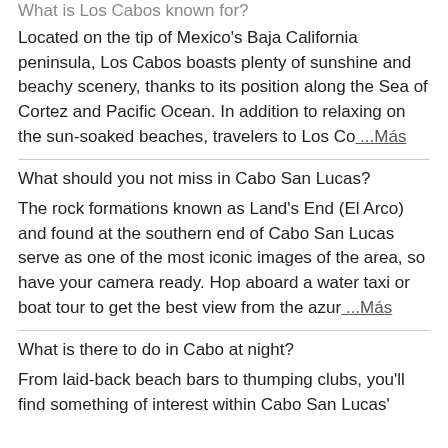What is Los Cabos known for?
Located on the tip of Mexico's Baja California peninsula, Los Cabos boasts plenty of sunshine and beachy scenery, thanks to its position along the Sea of Cortez and Pacific Ocean. In addition to relaxing on the sun-soaked beaches, travelers to Los Co …Más
What should you not miss in Cabo San Lucas?
The rock formations known as Land's End (El Arco) and found at the southern end of Cabo San Lucas serve as one of the most iconic images of the area, so have your camera ready. Hop aboard a water taxi or boat tour to get the best view from the azur …Más
What is there to do in Cabo at night?
From laid-back beach bars to thumping clubs, you'll find something of interest within Cabo San Lucas'